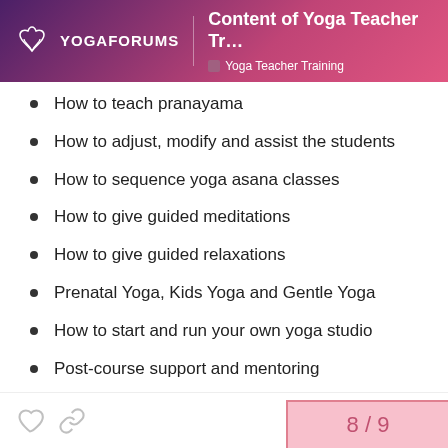YOGAFORUMS — Content of Yoga Teacher Tr... | Yoga Teacher Training
How to teach pranayama
How to adjust, modify and assist the students
How to sequence yoga asana classes
How to give guided meditations
How to give guided relaxations
Prenatal Yoga, Kids Yoga and Gentle Yoga
How to start and run your own yoga studio
Post-course support and mentoring
8 / 9